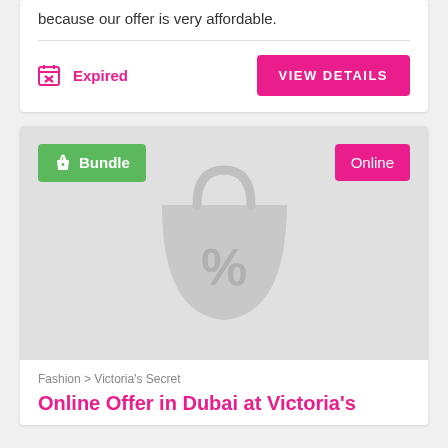because our offer is very affordable.
Expired
VIEW DETAILS
[Figure (illustration): Shopping bag with percentage sign placeholder icon on grey background, with Bundle (green) and Online (pink) badges]
Fashion > Victoria's Secret
Online Offer in Dubai at Victoria's